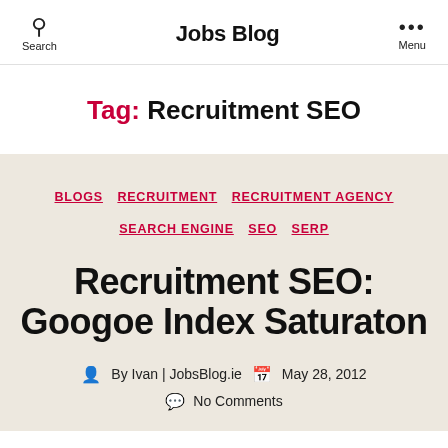Jobs Blog
Tag: Recruitment SEO
BLOGS  RECRUITMENT  RECRUITMENT AGENCY  SEARCH ENGINE  SEO  SERP
Recruitment SEO: Googoe Index Saturaton
By Ivan | JobsBlog.ie   May 28, 2012   No Comments